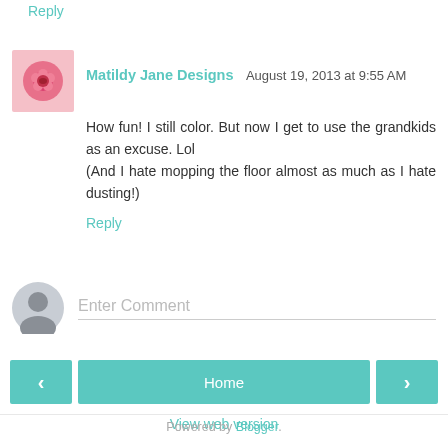Reply
Matildy Jane Designs August 19, 2013 at 9:55 AM
How fun! I still color. But now I get to use the grandkids as an excuse. Lol
(And I hate mopping the floor almost as much as I hate dusting!)
Reply
Enter Comment
Home
View web version
Powered by Blogger.
AN ELITE CAFEMEDIA HOME/DIY PUBLISHER